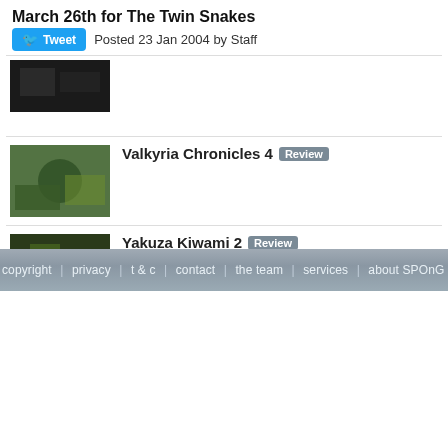March 26th for The Twin Snakes
Posted 23 Jan 2004 by Staff
Valkyria Chronicles 4 Review
Yakuza Kiwami 2 Review
Marvel's Spider-Man Review
copyright | privacy | t & c | contact | the team | services | about SPOnG